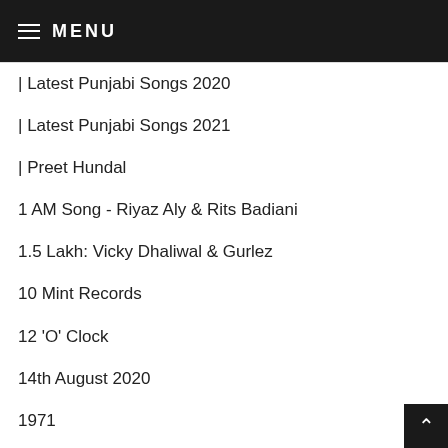MENU
| Latest Punjabi Songs 2020
| Latest Punjabi Songs 2021
| Preet Hundal
1 AM Song - Riyaz Aly & Rits Badiani
1.5 Lakh: Vicky Dhaliwal & Gurlez
10 Mint Records
12 'O' Clock
14th August 2020
1971
2 Ghore
2 Number De (Official Video)
2.0ROBOT
29 March 2020